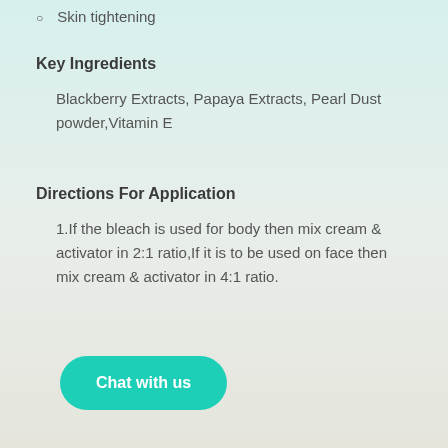Skin tightening
Key Ingredients
Blackberry Extracts, Papaya Extracts, Pearl Dust powder,Vitamin E
Directions For Application
1.If the bleach is used for body then mix cream & activator in 2:1 ratio,If it is to be used on face then mix cream & activator in 4:1 ratio.
Chat with us